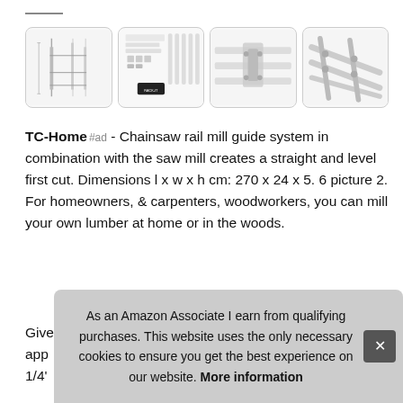[Figure (photo): Four thumbnail images of a chainsaw rail mill guide system showing technical diagram, parts laid out, assembled top view, and close-up of rail connections]
TC-Home #ad - Chainsaw rail mill guide system in combination with the saw mill creates a straight and level first cut. Dimensions l x w x h cm: 270 x 24 x 5. 6 picture 2. For homeowners, & carpenters, woodworkers, you can mill your own lumber at home or in the woods.
Give app 1/4'
As an Amazon Associate I earn from qualifying purchases. This website uses the only necessary cookies to ensure you get the best experience on our website. More information